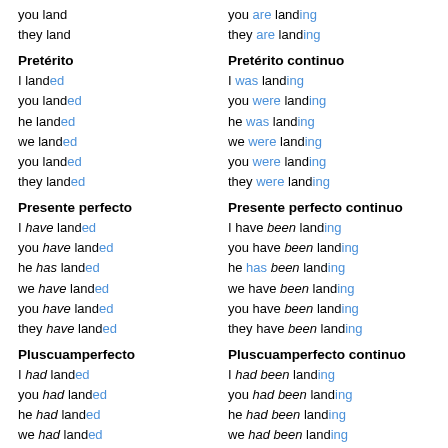you land
they land
you are landing
they are landing
Pretérito
I landed
you landed
he landed
we landed
you landed
they landed
Pretérito continuo
I was landing
you were landing
he was landing
we were landing
you were landing
they were landing
Presente perfecto
I have landed
you have landed
he has landed
we have landed
you have landed
they have landed
Presente perfecto continuo
I have been landing
you have been landing
he has been landing
we have been landing
you have been landing
they have been landing
Pluscuamperfecto
I had landed
you had landed
he had landed
we had landed
you had landed
they had landed
Pluscuamperfecto continuo
I had been landing
you had been landing
he had been landing
we had been landing
you had been landing
they had been landing